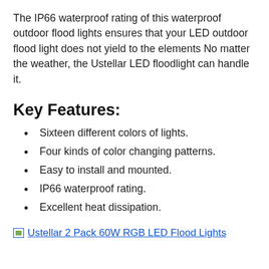The IP66 waterproof rating of this waterproof outdoor flood lights ensures that your LED outdoor flood light does not yield to the elements No matter the weather, the Ustellar LED floodlight can handle it.
Key Features:
Sixteen different colors of lights.
Four kinds of color changing patterns.
Easy to install and mounted.
IP66 waterproof rating.
Excellent heat dissipation.
Ustellar 2 Pack 60W RGB LED Flood Lights